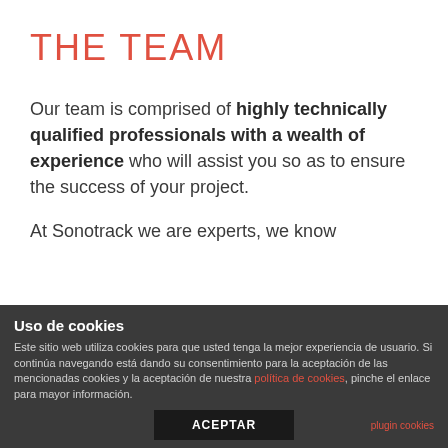THE TEAM
Our team is comprised of highly technically qualified professionals with a wealth of experience who will assist you so as to ensure the success of your project.
At Sonotrack we are experts, we know
Uso de cookies
Este sitio web utiliza cookies para que usted tenga la mejor experiencia de usuario. Si continúa navegando está dando su consentimiento para la aceptación de las mencionadas cookies y la aceptación de nuestra política de cookies, pinche el enlace para mayor información.
ACEPTAR
plugin cookies